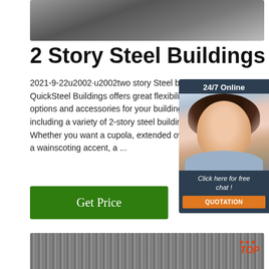[Figure (photo): Close-up photo of metallic steel surface with dark gray tones at the top of the page]
2 Story Steel Buildings
2021-9-22u2002·u2002two story Steel b... QuickSteel Buildings offers great flexibili... options and accessories for your building... including a variety of 2-story steel buildir... Whether you want a cupola, extended ov... a wainscoting accent, a ...
[Figure (infographic): 24/7 Online chat widget with woman wearing headset, dark blue background, orange QUOTATION button and 'Click here for free chat!' text]
[Figure (photo): Coils of steel wire rods in a warehouse setting, bottom of page, with red TOP logo overlay]